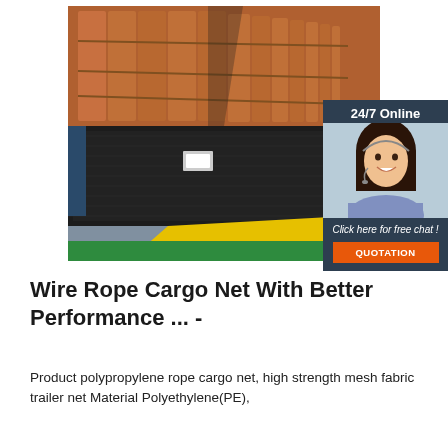[Figure (photo): Warehouse interior with industrial shelving/racking systems, and a dock leveler plate with yellow ramp in foreground. A 24/7 online chat widget with a female customer service representative is overlaid on the right side with a 'Click here for free chat!' message and orange QUOTATION button.]
Wire Rope Cargo Net With Better Performance ... -
Product polypropylene rope cargo net, high strength mesh fabric trailer net Material Polyethylene(PE),